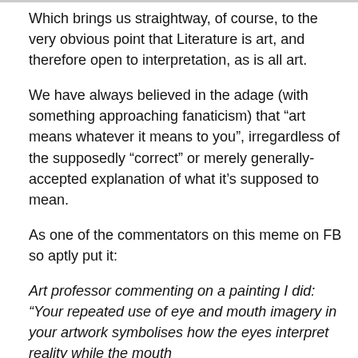Which brings us straightway, of course, to the very obvious point that Literature is art, and therefore open to interpretation, as is all art.
We have always believed in the adage (with something approaching fanaticism) that “art means whatever it means to you”, irregardless of the supposedly “correct” or merely generally-accepted explanation of what it’s supposed to mean.
As one of the commentators on this meme on FB so aptly put it:
Art professor commenting on a painting I did: “Your repeated use of eye and mouth imagery in your artwork symbolises how the eyes interpret reality while the mouth